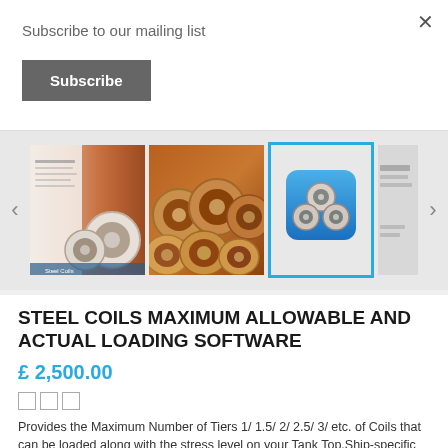Subscribe to our mailing list
Subscribe
[Figure (screenshot): Product image carousel showing steel coils photos and a steel coils software icon, with left and right navigation arrows. Third image (software icon with stacked coils on blue background) is selected with a teal border.]
STEEL COILS MAXIMUM ALLOWABLE AND ACTUAL LOADING SOFTWARE
£ 2,500.00
[Figure (other): Three empty rating/review checkbox squares]
Provides the Maximum Number of Tiers 1/ 1.5/ 2/ 2.5/ 3/ etc. of Coils that can be loaded along with the stress level on your Tank Top.Ship-specific process for increasing & optimising the steel coils that can be loaded to a li...